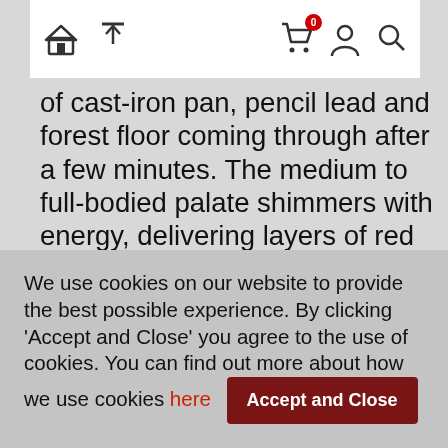[Navigation bar with home icon, upload icon, cart icon with badge '0', user icon, search icon]
of cast-iron pan, pencil lead and forest floor coming through after a few minutes. The medium to full-bodied palate shimmers with energy, delivering layers of red and black fruits with earthy and mineral sparks and a texture so satiny you need to remember to look for it, finishing with amazing vibrancy. This is so wonderfully evocative and singular, and yet it feels like its holding something back. It makes for an impressive glass right now, but give it a good 5 years in bottle to allow further nuances to emerge and expect it to
We use cookies on our website to provide the best possible experience. By clicking 'Accept and Close' you agree to the use of cookies. You can find out more about how we use cookies here
Accept and Close